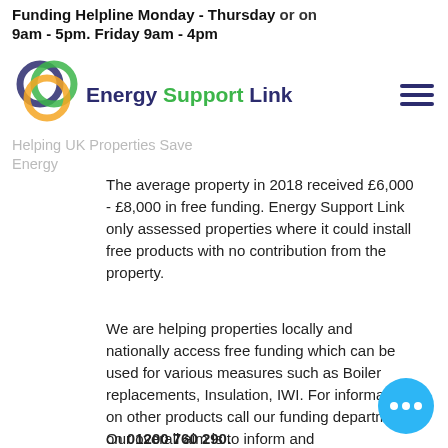Funding Helpline Monday - Thursday 9am - 5pm. Friday 9am - 4pm or on
[Figure (logo): Energy Support Link logo with three overlapping circles (blue, green, gold/yellow) and brand name 'Energy Support Link' in dark blue and green text, plus hamburger menu icon]
Helping UK Properties Save Energy
The average property in 2018 received £6,000 - £8,000 in free funding. Energy Support Link only assessed properties where it could install free products with no contribution from the property.
We are helping properties locally and nationally access free funding which can be used for various measures such as Boiler replacements, Insulation, IWI. For information on other products call our funding department on 01200 760 290.
Our overall aim is to inform and